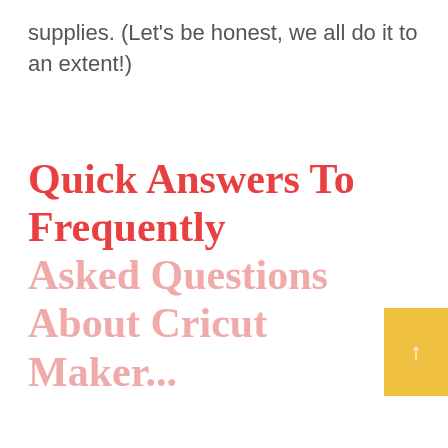supplies. (Let's be honest, we all do it to an extent!)
Quick Answers To Frequently Asked Questions About Cricut Maker...